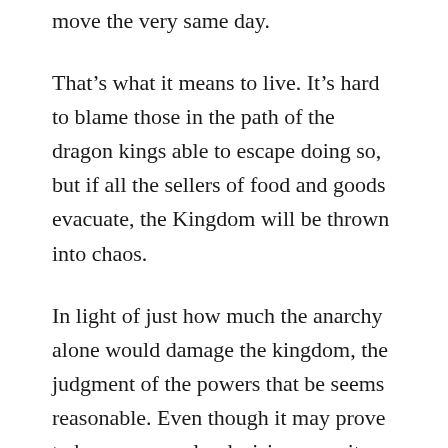move the very same day.
That's what it means to live. It's hard to blame those in the path of the dragon kings able to escape doing so, but if all the sellers of food and goods evacuate, the Kingdom will be thrown into chaos.
In light of just how much the anarchy alone would damage the kingdom, the judgment of the powers that be seems reasonable. Even though it may prove to be an unpopular decision once it becomes public, they will stand by it all the same.
“Well, if myself and the adventurers join hands, the people of the Kingdom shall not come to